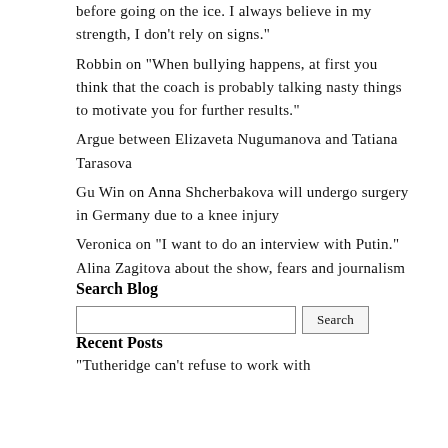before going on the ice. I always believe in my strength, I don’t rely on signs.”
Robbin on “When bullying happens, at first you think that the coach is probably talking nasty things to motivate you for further results.”
Argue between Elizaveta Nugumanova and Tatiana Tarasova
Gu Win on Anna Shcherbakova will undergo surgery in Germany due to a knee injury
Veronica on “I want to do an interview with Putin.” Alina Zagitova about the show, fears and journalism
Search Blog
Recent Posts
“Tutheridge can’t refuse to work with